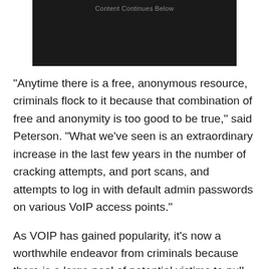[Figure (other): Dark advertisement banner with 'Content Continues Below' label text in gray]
"Anytime there is a free, anonymous resource, criminals flock to it because that combination of free and anonymity is too good to be true," said Peterson. "What we've seen is an extraordinary increase in the last few years in the number of cracking attempts, and port scans, and attempts to log in with default admin passwords on various VoIP access points."
As VOIP has gained popularity, it's now a worthwhile endeavor from criminals because there is a large pool of potential victims to pull